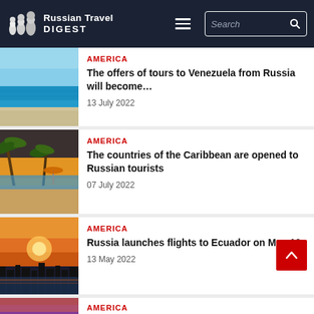Russian Travel DIGEST
AMERICA
The offers of tours to Venezuela from Russia will become…
13 July 2022
AMERICA
The countries of the Caribbean are opened to Russian tourists
07 July 2022
AMERICA
Russia launches flights to Ecuador on May 16
13 May 2022
AMERICA
The closure of airspace by the USA puts obstacles to